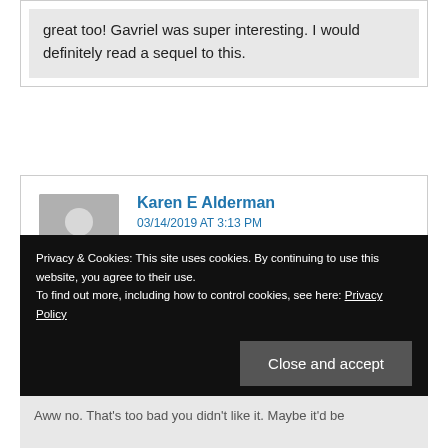great too! Gavriel was super interesting. I would definitely read a sequel to this.
Karen E Alderman
03/14/2019 AT 3:13 PM
I started to read this years ago and couldn't get into it. But I have a feeling it was just my mood at the time because I've loved a few other books she's written since then.
Karen @ For What It's Worth
Privacy & Cookies: This site uses cookies. By continuing to use this website, you agree to their use.
To find out more, including how to control cookies, see here: Privacy Policy
Close and accept
Aww no. That's too bad you didn't like it. Maybe it'd be